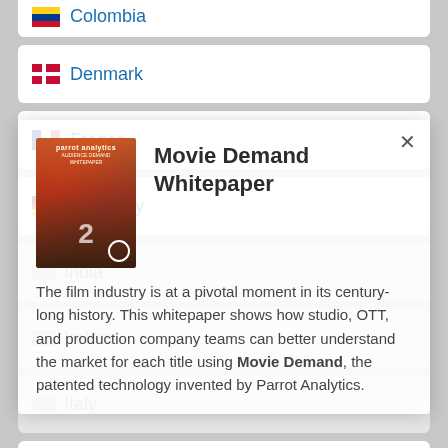Colombia
Denmark
France
Germany
India
Ireland
Italy
Japan
Malaysia
[Figure (screenshot): Modal popup overlay showing Movie Demand Whitepaper with book cover image and description text]
Movie Demand Whitepaper
The film industry is at a pivotal moment in its century-long history. This whitepaper shows how studio, OTT, and production company teams can better understand the market for each title using Movie Demand, the patented technology invented by Parrot Analytics.